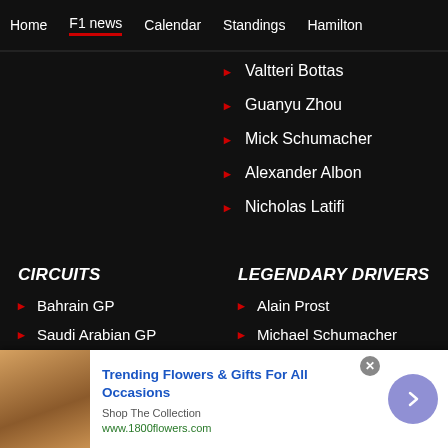Home | F1 news | Calendar | Standings | Hamilton
Valtteri Bottas
Guanyu Zhou
Mick Schumacher
Alexander Albon
Nicholas Latifi
CIRCUITS
LEGENDARY DRIVERS
Bahrain GP
Saudi Arabian GP
Australian GP
Emilia Romagna GP
Alain Prost
Michael Schumacher
Alberto Ascari
Ayrton Senna
Trending Flowers & Gifts For All Occasions
Shop The Collection
www.1800flowers.com